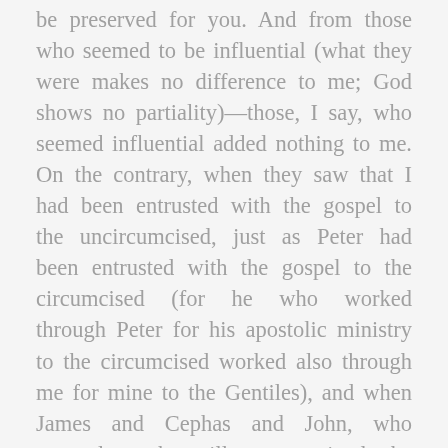be preserved for you. And from those who seemed to be influential (what they were makes no difference to me; God shows no partiality)—those, I say, who seemed influential added nothing to me. On the contrary, when they saw that I had been entrusted with the gospel to the uncircumcised, just as Peter had been entrusted with the gospel to the circumcised (for he who worked through Peter for his apostolic ministry to the circumcised worked also through me for mine to the Gentiles), and when James and Cephas and John, who seemed to be pillars, perceived the grace that was given to me, they gave the right hand of fellowship to Barnabas and me,